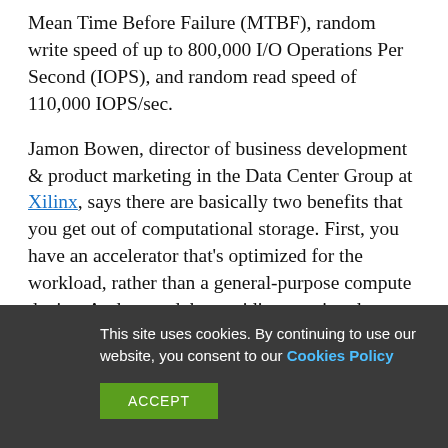Mean Time Before Failure (MTBF), random write speed of up to 800,000 I/O Operations Per Second (IOPS), and random read speed of 110,000 IOPS/sec.
Jamon Bowen, director of business development & product marketing in the Data Center Group at Xilinx, says there are basically two benefits that you get out of computational storage. First, you have an accelerator that's optimized for the workload, rather than a general-purpose compute device. And second, by avoiding moving data, you avoid memory
This site uses cookies. By continuing to use our website, you consent to our Cookies Policy
ACCEPT